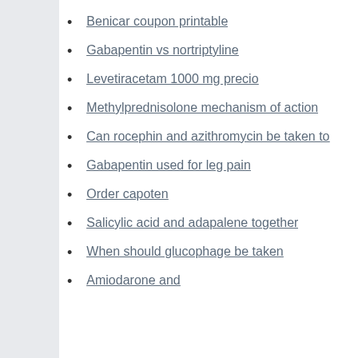Benicar coupon printable
Gabapentin vs nortriptyline
Levetiracetam 1000 mg precio
Methylprednisolone mechanism of action
Can rocephin and azithromycin be taken to
Gabapentin used for leg pain
Order capoten
Salicylic acid and adapalene together
When should glucophage be taken
Amiodarone and